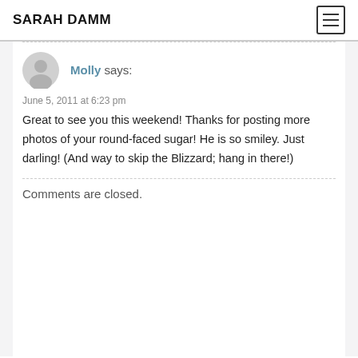SARAH DAMM
Molly says:
June 5, 2011 at 6:23 pm
Great to see you this weekend! Thanks for posting more photos of your round-faced sugar! He is so smiley. Just darling! (And way to skip the Blizzard; hang in there!)
Comments are closed.